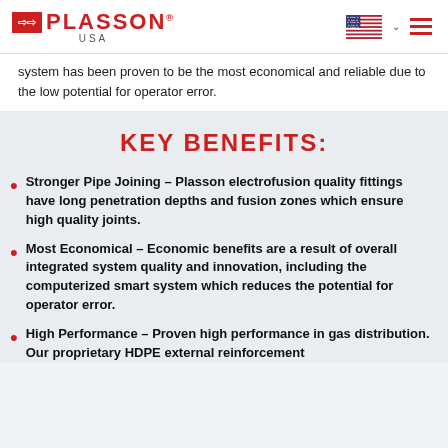PLASSON USA
system has been proven to be the most economical and reliable due to the low potential for operator error.
KEY BENEFITS:
Stronger Pipe Joining – Plasson electrofusion quality fittings have long penetration depths and fusion zones which ensure high quality joints.
Most Economical – Economic benefits are a result of overall integrated system quality and innovation, including the computerized smart system which reduces the potential for operator error.
High Performance – Proven high performance in gas distribution. Our proprietary HDPE external reinforcement